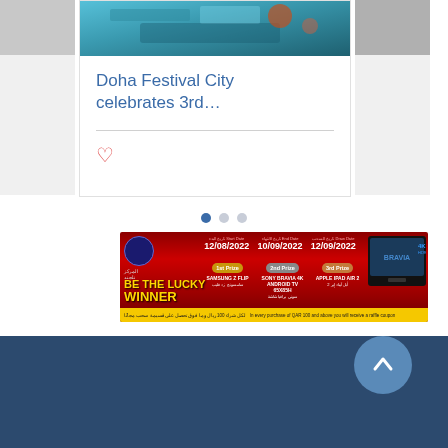[Figure (screenshot): Partial card on left side of carousel showing a grey image]
[Figure (screenshot): Center card with aerial/colorful image at top, article title 'Doha Festival City celebrates 3rd...' in blue, a divider line, and a heart icon]
Doha Festival City celebrates 3rd...
[Figure (screenshot): Partial card on right side of carousel showing a grey image]
[Figure (infographic): Advertisement banner: 'BE THE LUCKY WINNER' raffle promotion with 3 prizes: 1st Prize Samsung Z Flip, 2nd Prize Sony Bravia 4K Android TV 65x85H, 3rd Prize Apple iPad Air 2. Start Date 12/08/2022, End Date 10/09/2022, Draw Date 12/09/2022. Bottom strip: 'In every purchase of QAR 100 and above you will receive a raffle coupon']
[Figure (screenshot): Dark navy blue footer section with a circular scroll-up button]